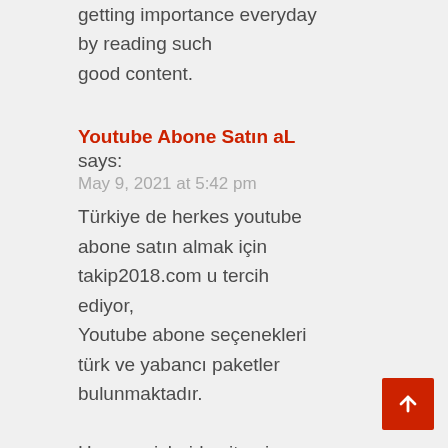getting importance everyday by reading such good content.
Youtube Abone Satın aL
says:
May 9, 2021 at 5:42 pm
Türkiye de herkes youtube abone satın almak için takip2018.com u tercih ediyor, Youtube abone seçenekleri türk ve yabancı paketler bulunmaktadır.

Hemen sizleride sitemize bekliyoruz